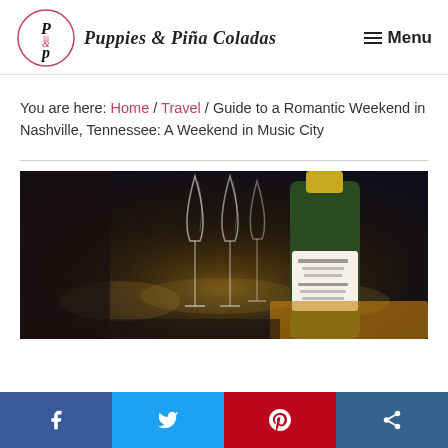Puppies & Piña Coladas — Menu
You are here: Home / Travel / Guide to a Romantic Weekend in Nashville, Tennessee: A Weekend in Music City
[Figure (photo): Champagne flutes and a bottle of sparkling wine on a table with city lights blurred in the background]
Social sharing bar: Facebook, Twitter, Pinterest, Share